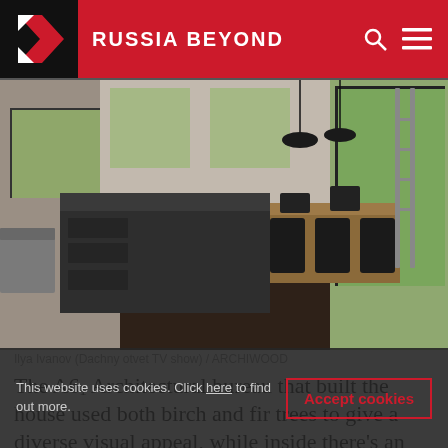RUSSIA BEYOND
[Figure (photo): Interior of a modern house showing an open-plan kitchen and dining area with a dark kitchen island, wooden dining table, black chairs, large floor-to-ceiling windows looking out to a green garden, dark wood floor.]
Ilya Ivanov (Dachny otvet TV show) / ARCHIWOOD
The A61 Architectural bureau that built the house used both birch and fir trees to give a diverse visual appeal, while inside there's an asymmetric
This website uses cookies. Click here to find out more.